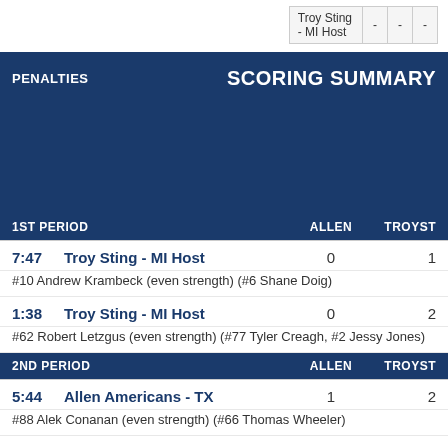|  | - | - | - |
| --- | --- | --- | --- |
| Troy Sting - MI Host | - | - | - |
PENALTIES
SCORING SUMMARY
| 1ST PERIOD | ALLEN | TROYST |
| --- | --- | --- |
| 7:47  Troy Sting - MI Host | 0 | 1 |
| #10 Andrew Krambeck (even strength) (#6 Shane Doig) |  |  |
| 1:38  Troy Sting - MI Host | 0 | 2 |
| #62 Robert Letzgus (even strength) (#77 Tyler Creagh, #2 Jessy Jones) |  |  |
| 2ND PERIOD | ALLEN | TROYST |
| --- | --- | --- |
| 5:44  Allen Americans - TX | 1 | 2 |
| #88 Alek Conanan (even strength) (#66 Thomas Wheeler) |  |  |